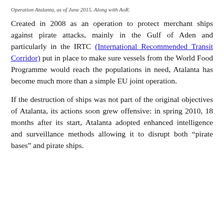Operation Atalanta, as of June 2015. Along with AoR.
Created in 2008 as an operation to protect merchant ships against pirate attacks, mainly in the Gulf of Aden and particularly in the IRTC (International Recommended Transit Corridor) put in place to make sure vessels from the World Food Programme would reach the populations in need, Atalanta has become much more than a simple EU joint operation.
If the destruction of ships was not part of the original objectives of Atalanta, its actions soon grew offensive: in spring 2010, 18 months after its start, Atalanta adopted enhanced intelligence and surveillance methods allowing it to disrupt both “pirate bases” and pirate ships.